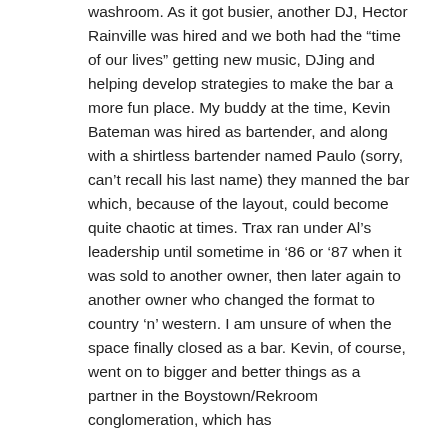washroom. As it got busier, another DJ, Hector Rainville was hired and we both had the “time of our lives” getting new music, DJing and helping develop strategies to make the bar a more fun place. My buddy at the time, Kevin Bateman was hired as bartender, and along with a shirtless bartender named Paulo (sorry, can’t recall his last name) they manned the bar which, because of the layout, could become quite chaotic at times. Trax ran under Al’s leadership until sometime in ‘86 or ‘87 when it was sold to another owner, then later again to another owner who changed the format to country ‘n’ western. I am unsure of when the space finally closed as a bar. Kevin, of course, went on to bigger and better things as a partner in the Boystown/Rekroom conglomeration, which has